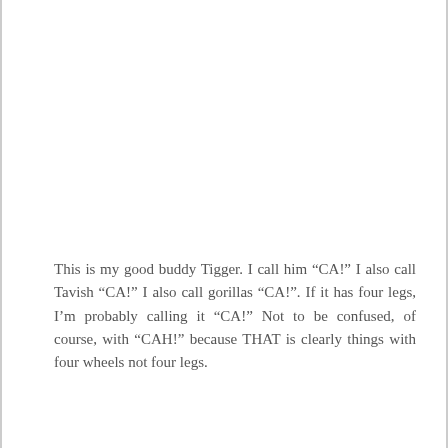This is my good buddy Tigger. I call him “CA!” I also call Tavish “CA!” I also call gorillas “CA!”. If it has four legs, I’m probably calling it “CA!” Not to be confused, of course, with “CAH!” because THAT is clearly things with four wheels not four legs.